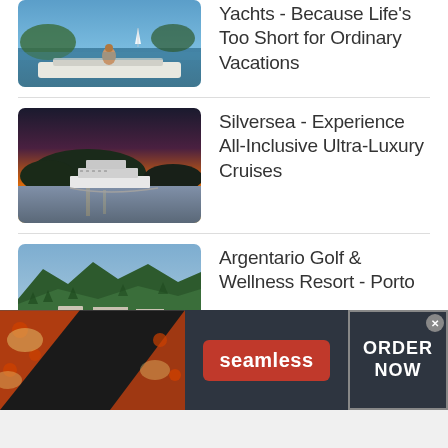[Figure (photo): Person sitting on a yacht deck looking at calm blue water with other sailboats in background]
Yachts - Because Life's Too Short for Ordinary Vacations
[Figure (photo): Luxury cruise ship sailing at sunset with tropical island silhouette in background]
Silversea - Experience All-Inclusive Ultra-Luxury Cruises
[Figure (photo): Aerial view of Argentario Golf & Wellness Resort surrounded by green mountains]
Argentario Golf & Wellness Resort - Porto
[Figure (photo): Seamless food delivery advertisement banner with pizza images, seamless logo, and ORDER NOW button]